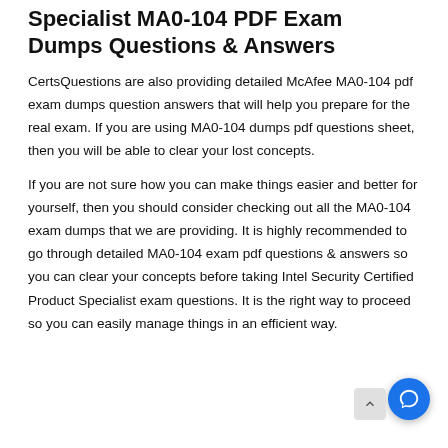Specialist MA0-104 PDF Exam Dumps Questions & Answers
CertsQuestions are also providing detailed McAfee MA0-104 pdf exam dumps question answers that will help you prepare for the real exam. If you are using MA0-104 dumps pdf questions sheet, then you will be able to clear your lost concepts.
If you are not sure how you can make things easier and better for yourself, then you should consider checking out all the MA0-104 exam dumps that we are providing. It is highly recommended to go through detailed MA0-104 exam pdf questions & answers so you can clear your concepts before taking Intel Security Certified Product Specialist exam questions. It is the right way to proceed so you can easily manage things in an efficient way.